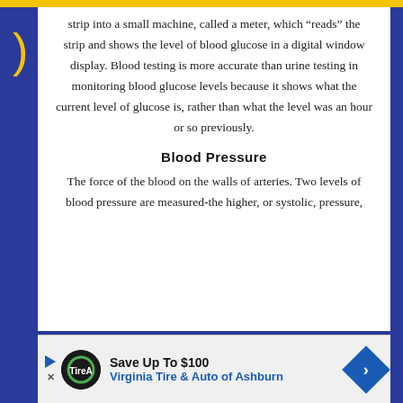strip into a small machine, called a meter, which “reads” the strip and shows the level of blood glucose in a digital window display. Blood testing is more accurate than urine testing in monitoring blood glucose levels because it shows what the current level of glucose is, rather than what the level was an hour or so previously.
Blood Pressure
The force of the blood on the walls of arteries. Two levels of blood pressure are measured-the higher, or systolic, pressure,
[Figure (other): Advertisement banner: Save Up To $100 - Virginia Tire & Auto of Ashburn, with logo and arrow icon]